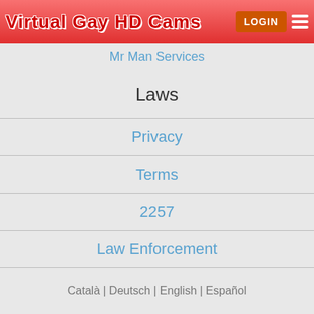Virtual Gay HD Cams
Mr Man Services
Laws
Privacy
Terms
2257
Law Enforcement
Català | Deutsch | English | Español
© VirtualGayHD Cams - Virtual gay cams & sex chat rooms 2022 All rights reserved.